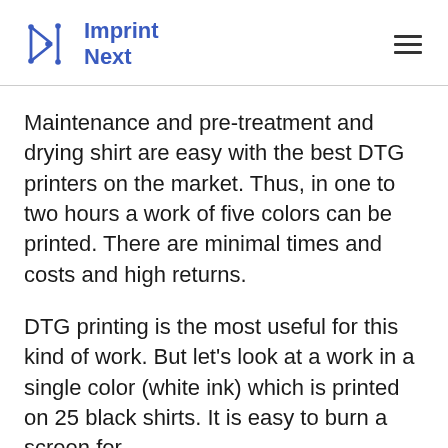Imprint Next
Maintenance and pre-treatment and drying shirt are easy with the best DTG printers on the market. Thus, in one to two hours a work of five colors can be printed. There are minimal times and costs and high returns.
DTG printing is the most useful for this kind of work. But let’s look at a work in a single color (white ink) which is printed on 25 black shirts. It is easy to burn a screen for screen printing, then printing, flashing...